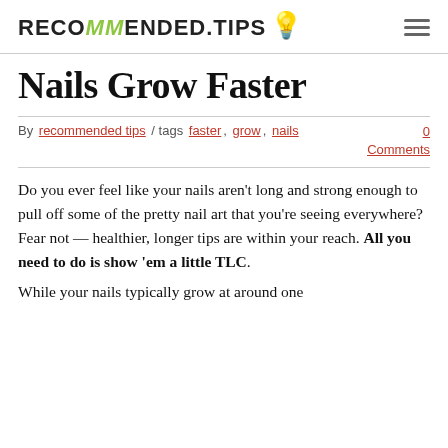RECOMMENDED.TIPS
Nails Grow Faster
By recommended tips / tags faster, grow, nails   0 Comments
Do you ever feel like your nails aren't long and strong enough to pull off some of the pretty nail art that you're seeing everywhere? Fear not — healthier, longer tips are within your reach. All you need to do is show 'em a little TLC.
While your nails typically grow at around one